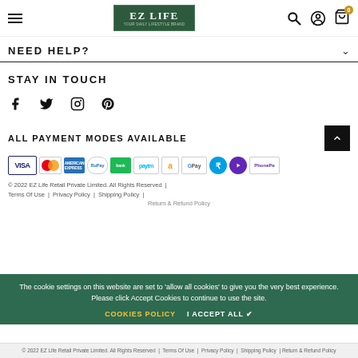EZ LIFE navigation header with hamburger menu, logo, search, account and cart icons
NEED HELP?
STAY IN TOUCH
[Figure (infographic): Social media icons: Facebook, Twitter, Instagram, Pinterest]
ALL PAYMENT MODES AVAILABLE
[Figure (infographic): Payment logos: VISA, Mastercard, American Express, RuPay, Paytm, Amazon Pay, Google Pay, rupee circle, PhonePe]
The cookie settings on this website are set to 'allow all cookies' to give you the very best experience. Please click Accept Cookies to continue to use the site.
COOKIES POLICY   I ACCEPT ALL ✔
© 2022 EZ Life Retail Private Limited. All Rights Reserved | Terms Of Use | Privacy Policy | Shipping Policy | Return & Refund Policy